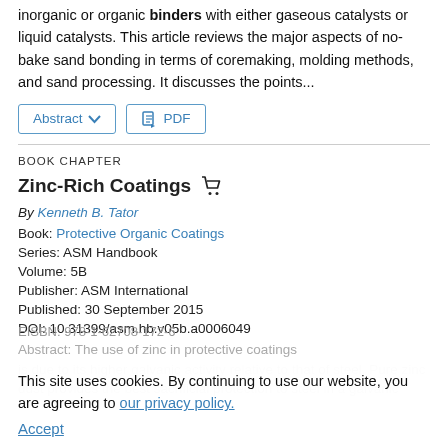inorganic or organic binders with either gaseous catalysts or liquid catalysts. This article reviews the major aspects of no-bake sand bonding in terms of coremaking, molding methods, and sand processing. It discusses the points...
Abstract ∨   PDF
BOOK CHAPTER
Zinc-Rich Coatings
By Kenneth B. Tator
Book: Protective Organic Coatings
Series: ASM Handbook
Volume: 5B
Publisher: ASM International
Published: 30 September 2015
DOI: 10.31399/asm.hb.v05b.a0006049
EISBN: 978-1-62708-172-6
This site uses cookies. By continuing to use our website, you are agreeing to our privacy policy. Accept